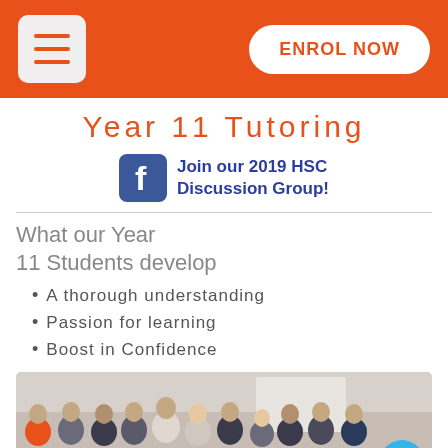ENROL NOW
Year 11 Tutoring
Join our 2019 HSC Discussion Group!
What our Year 11 Students develop
A thorough understanding
Passion for learning
Boost in Confidence
[Figure (photo): Group photo of Year 11 tutoring students and tutors standing together in a classroom]